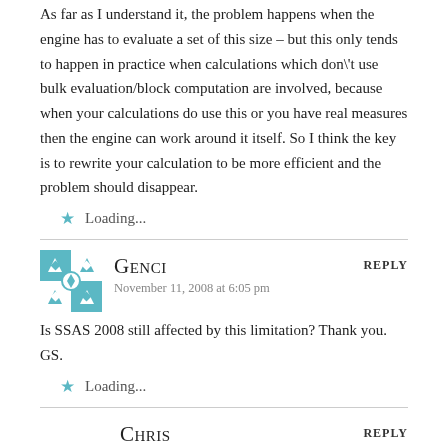As far as I understand it, the problem happens when the engine has to evaluate a set of this size – but this only tends to happen in practice when calculations which don't use bulk evaluation/block computation are involved, because when your calculations do use this or you have real measures then the engine can work around it itself. So I think the key is to rewrite your calculation to be more efficient and the problem should disappear.
Loading...
Genci says: November 11, 2008 at 6:05 pm  REPLY
Is SSAS 2008 still affected by this limitation? Thank you. GS.
Loading...
Chris says: November 14, 2008 at 12:22 pm  REPLY
Well, the above query now returns an out-of-memory exception from SQL MS when I try to run in on AS2008, so it seems AS is happy to return the